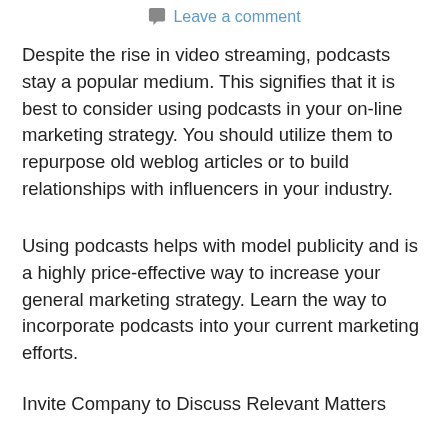Leave a comment
Despite the rise in video streaming, podcasts stay a popular medium. This signifies that it is best to consider using podcasts in your on-line marketing strategy. You should utilize them to repurpose old weblog articles or to build relationships with influencers in your industry.
Using podcasts helps with model publicity and is a highly price-effective way to increase your general marketing strategy. Learn the way to incorporate podcasts into your current marketing efforts.
Invite Company to Discuss Relevant Matters
The first instance of utilizing podcasts for marketing is to invite friends to talk a few matter relevant to your industry.